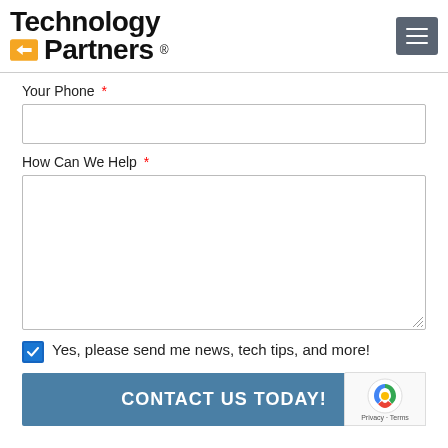Technology Partners
Your Phone *
How Can We Help *
Yes, please send me news, tech tips, and more!
CONTACT US TODAY!